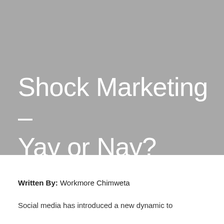[Figure (illustration): Gray background hero image area for article cover]
Shock Marketing – Yay or Nay?
Written By: Workmore Chimweta
Social media has introduced a new dynamic to